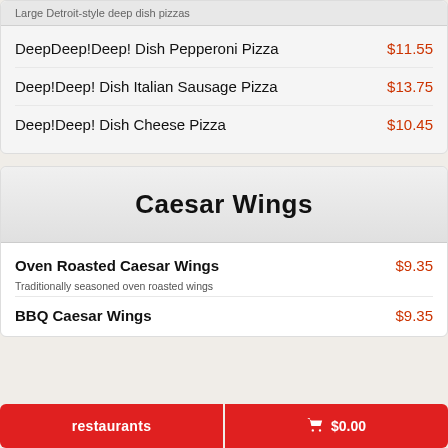Large Detroit-style deep dish pizzas
DeepDeep!Deep! Dish Pepperoni Pizza  $11.55
Deep!Deep! Dish Italian Sausage Pizza  $13.75
Deep!Deep! Dish Cheese Pizza  $10.45
Caesar Wings
Oven Roasted Caesar Wings  $9.35
Traditionally seasoned oven roasted wings
BBQ Caesar Wings  $9.35
restaurants   🛒 $0.00